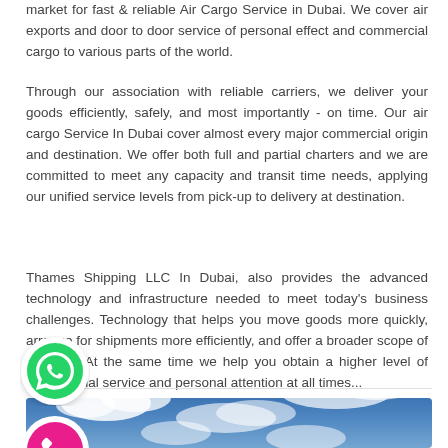market for fast & reliable Air Cargo Service in Dubai. We cover air exports and door to door service of personal effect and commercial cargo to various parts of the world.
Through our association with reliable carriers, we deliver your goods efficiently, safely, and most importantly - on time. Our air cargo Service In Dubai cover almost every major commercial origin and destination. We offer both full and partial charters and we are committed to meet any capacity and transit time needs, applying our unified service levels from pick-up to delivery at destination.
Thames Shipping LLC In Dubai, also provides the advanced technology and infrastructure needed to meet today's business challenges. Technology that helps you move goods more quickly, arrange for shipments more efficiently, and offer a broader scope of services. At the same time we help you obtain a higher level of professional service and personal attention at all times...
[Figure (illustration): Circular WhatsApp icon button (green background with white phone/chat icon) floating on the left side]
[Figure (illustration): Circular phone icon button (pink/magenta background with white phone icon) floating on the left side]
[Figure (photo): Photo of blue sky with white clouds]